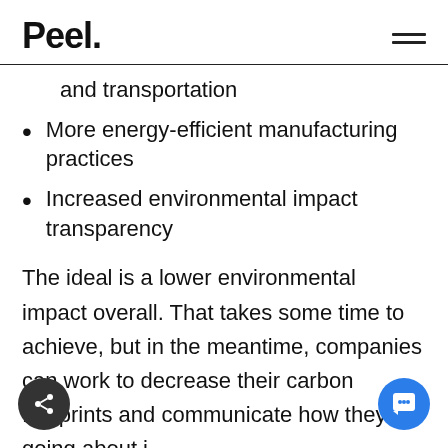Peel.
and transportation
More energy-efficient manufacturing practices
Increased environmental impact transparency
The ideal is a lower environmental impact overall. That takes some time to achieve, but in the meantime, companies can work to decrease their carbon footprints and communicate how they're going about i…